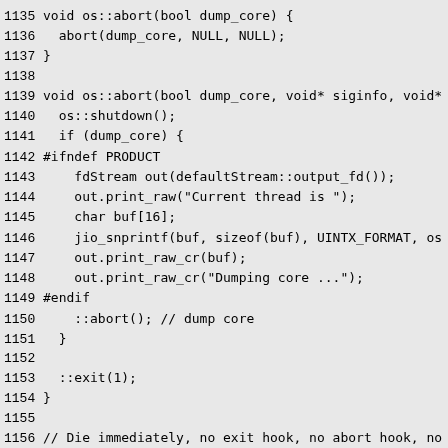Source code listing lines 1135-1164, C++ code for os::abort and os::die functions